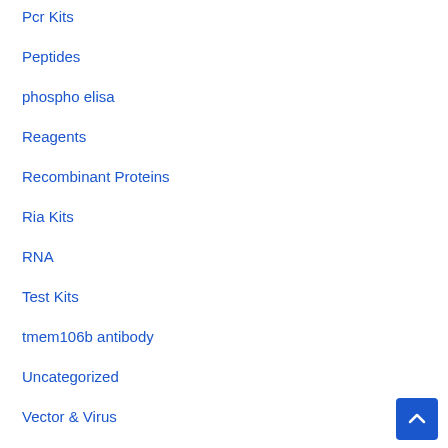Pcr Kits
Peptides
phospho elisa
Reagents
Recombinant Proteins
Ria Kits
RNA
Test Kits
tmem106b antibody
Uncategorized
Vector & Virus
Western Blot